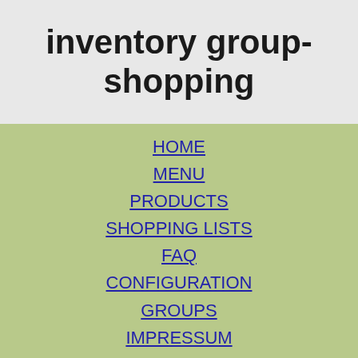inventory group-shopping
HOME
MENU
PRODUCTS
SHOPPING LISTS
FAQ
CONFIGURATION
GROUPS
IMPRESSUM
INVENTORY - GROUP SHOPPING